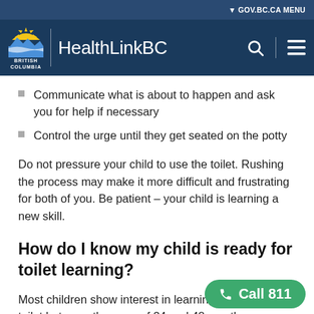GOV.BC.CA MENU | HealthLinkBC
Communicate what is about to happen and ask you for help if necessary
Control the urge until they get seated on the potty
Do not pressure your child to use the toilet. Rushing the process may make it more difficult and frustrating for both of you. Be patient – your child is learning a new skill.
How do I know my child is ready for toilet learning?
Most children show interest in learning to use the toilet between the ages of 24 and 48 months. However, not everyone will show interest during this age range. For some children, the family may want to consider a more goal-oriented approach.